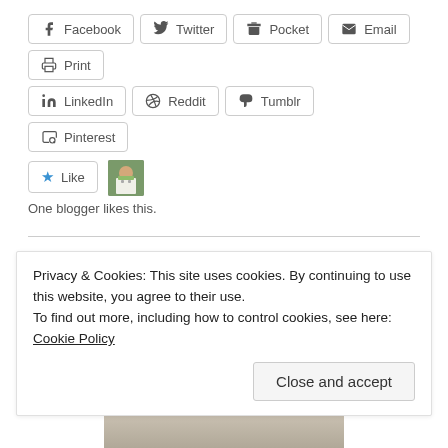Facebook
Twitter
Pocket
Email
Print
LinkedIn
Reddit
Tumblr
Pinterest
One blogger likes this.
Aging in Place – the Right Place, That Is
JULY 7, 2019  /  LEAVE A COMMENT
Privacy & Cookies: This site uses cookies. By continuing to use this website, you agree to their use.
To find out more, including how to control cookies, see here: Cookie Policy
Close and accept